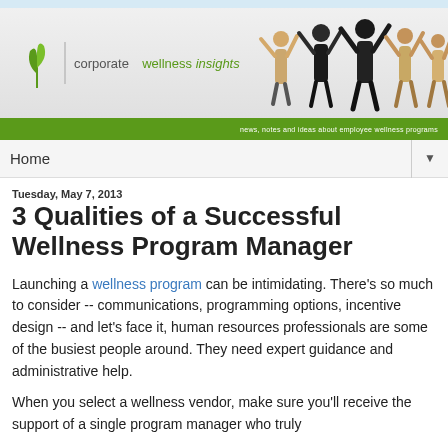[Figure (logo): Corporate Wellness Insights logo with green leaf and people celebrating]
news, notes and ideas about employee wellness programs
Home
Tuesday, May 7, 2013
3 Qualities of a Successful Wellness Program Manager
Launching a wellness program can be intimidating. There's so much to consider -- communications, programming options, incentive design -- and let's face it, human resources professionals are some of the busiest people around. They need expert guidance and administrative help.
When you select a wellness vendor, make sure you'll receive the support of a single program manager who truly